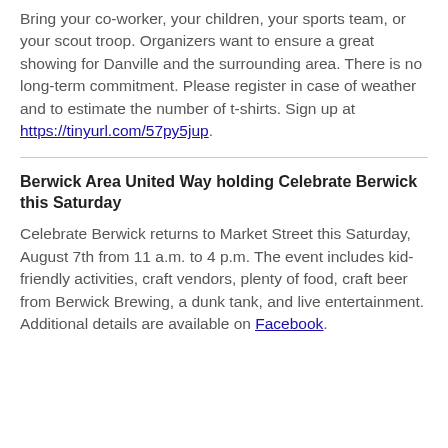Bring your co-worker, your children, your sports team, or your scout troop. Organizers want to ensure a great showing for Danville and the surrounding area. There is no long-term commitment. Please register in case of weather and to estimate the number of t-shirts. Sign up at https://tinyurl.com/57py5jup.
Berwick Area United Way holding Celebrate Berwick this Saturday
Celebrate Berwick returns to Market Street this Saturday, August 7th from 11 a.m. to 4 p.m. The event includes kid-friendly activities, craft vendors, plenty of food, craft beer from Berwick Brewing, a dunk tank, and live entertainment. Additional details are available on Facebook.